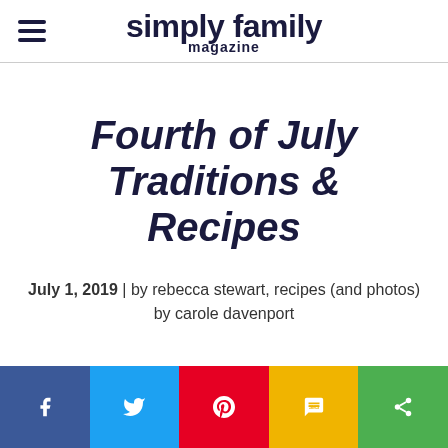simply family magazine
Fourth of July Traditions & Recipes
July 1, 2019 | by rebecca stewart, recipes (and photos) by carole davenport
[Figure (infographic): Social media sharing bar with five buttons: Facebook (blue), Twitter (light blue), Pinterest (red), SMS (yellow/gold), Share (green), each with their respective icons in white.]